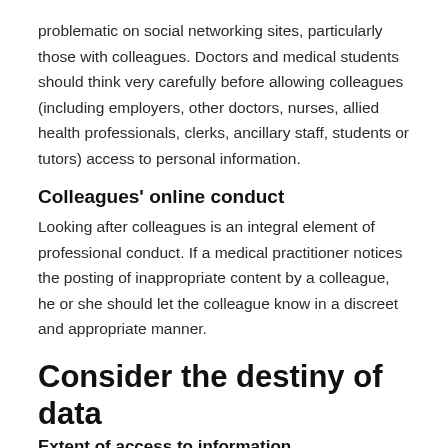problematic on social networking sites, particularly those with colleagues. Doctors and medical students should think very carefully before allowing colleagues (including employers, other doctors, nurses, allied health professionals, clerks, ancillary staff, students or tutors) access to personal information.
Colleagues' online conduct
Looking after colleagues is an integral element of professional conduct. If a medical practitioner notices the posting of inappropriate content by a colleague, he or she should let the colleague know in a discreet and appropriate manner.
Consider the destiny of data
Extent of access to information
Many people are unaware of how accessible and